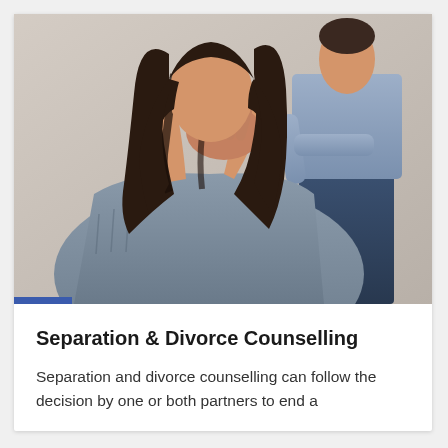[Figure (photo): A woman with dark hair sitting with her head in her hands in distress, wearing a grey sweater. In the background, a man in a light blue shirt and dark jeans stands with his back turned, arms folded.]
Separation & Divorce Counselling
Separation and divorce counselling can follow the decision by one or both partners to end a